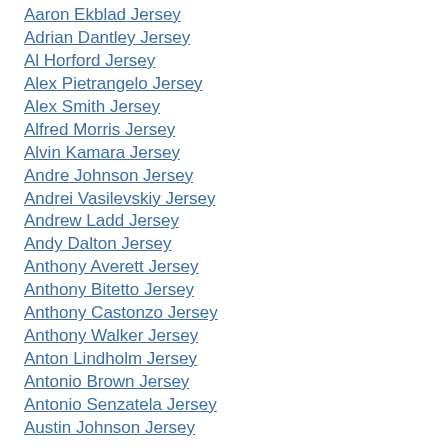Aaron Ekblad Jersey
Adrian Dantley Jersey
Al Horford Jersey
Alex Pietrangelo Jersey
Alex Smith Jersey
Alfred Morris Jersey
Alvin Kamara Jersey
Andre Johnson Jersey
Andrei Vasilevskiy Jersey
Andrew Ladd Jersey
Andy Dalton Jersey
Anthony Averett Jersey
Anthony Bitetto Jersey
Anthony Castonzo Jersey
Anthony Walker Jersey
Anton Lindholm Jersey
Antonio Brown Jersey
Antonio Senzatela Jersey
Austin Johnson Jersey